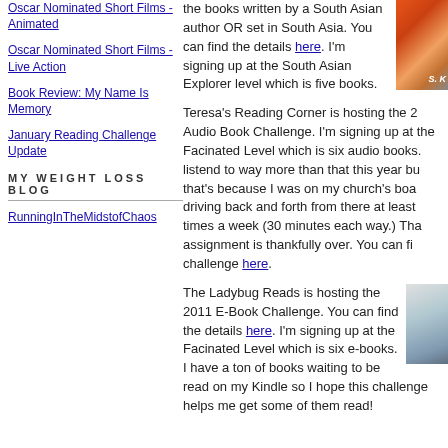Oscar Nominated Short Films - Animated
Oscar Nominated Short Films - Live Action
Book Review: My Name Is Memory
January Reading Challenge Update
MY WEIGHT LOSS BLOG
RunningInTheMidstofChaos
the books written by a South Asian author OR set in South Asia. You can find the details here. I'm signing up at the South Asian Explorer level which is five books.
Teresa's Reading Corner is hosting the 2 Audio Book Challenge. I'm signing up at the Facinated Level which is six audio books. listend to way more than that this year bu that's because I was on my church's boa driving back and forth from there at least times a week (30 minutes each way.) Tha assignment is thankfully over. You can fi challenge here.
The Ladybug Reads is hosting the 2011 E-Book Challenge. You can find the details here. I'm signing up at the Facinated Level which is six e-books. I have a ton of books waiting to be read on my Kindle so I hope this challenge helps me get some of them read!